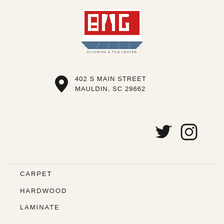[Figure (logo): BMG Flooring & Tile Center logo — red block letters B M G on a white background with a blue/grey chevron shape below and text 'FLOORING & TILE CENTER']
402 S MAIN STREET
MAULDIN, SC 29662
[Figure (other): Twitter bird icon and Instagram camera icon — social media icons in black]
CARPET
HARDWOOD
LAMINATE